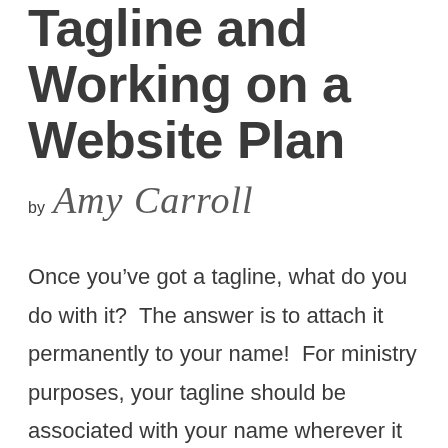Tagline and Working on a Website Plan
by Amy Carroll
Once you’ve got a tagline, what do you do with it?  The answer is to attach it permanently to your name!  For ministry purposes, your tagline should be associated with your name wherever it appears.  Here’s a little list for starters: